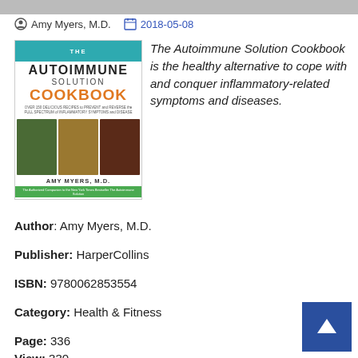Amy Myers, M.D.   2018-05-08
[Figure (photo): Book cover of The Autoimmune Solution Cookbook by Amy Myers, M.D. with teal header, orange COOKBOOK text, small recipe photos]
The Autoimmune Solution Cookbook is the healthy alternative to cope with and conquer inflammatory-related symptoms and diseases.
Author: Amy Myers, M.D.
Publisher: HarperCollins
ISBN: 9780062853554
Category: Health & Fitness
Page: 336
View: 330